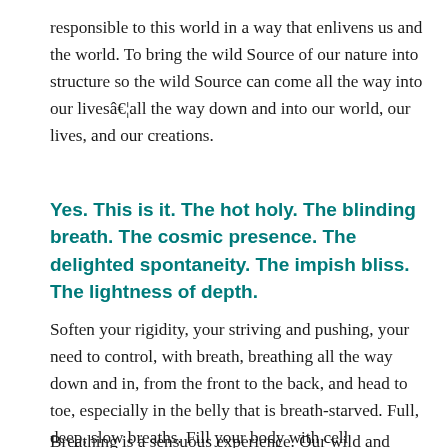responsible to this world in a way that enlivens us and the world. To bring the wild Source of our nature into structure so the wild Source can come all the way into our lives…all the way down and into our world, our lives, and our creations.
Yes. This is it. The hot holy. The blinding breath. The cosmic presence. The delighted spontaneity. The impish bliss. The lightness of depth.
Soften your rigidity, your striving and pushing, your need to control, with breath, breathing all the way down and in, from the front to the back, and head to toe, especially in the belly that is breath-starved. Full, deep, slow breaths. Fill your body with cell nourishment and aliveness.
Breathing is a sensuous experience. Our wild and tender